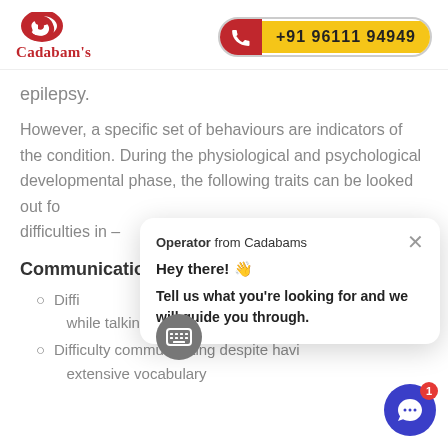[Figure (logo): Cadabam's logo with red swirl icon and red text]
[Figure (other): Phone button showing +91 96111 94949 with red and yellow background]
epilepsy.
However, a specific set of behaviours are indicators of the condition. During the physiological and psychological developmental phase, the following traits can be looked out for difficulties in –
Communication –
Difficulties while talking.
Difficulty communicating despite having extensive vocabulary
[Figure (screenshot): Chat popup from Operator from Cadabams saying: Hey there! 👋 Tell us what you're looking for and we will guide you through.]